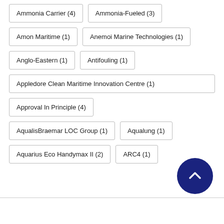Ammonia Carrier (4)
Ammonia-Fueled (3)
Amon Maritime (1)
Anemoi Marine Technologies (1)
Anglo-Eastern (1)
Antifouling (1)
Appledore Clean Maritime Innovation Centre (1)
Approval In Principle (4)
AqualisBraemar LOC Group (1)
Aqualung (1)
Aquarius Eco Handymax II (2)
ARC4 (1)